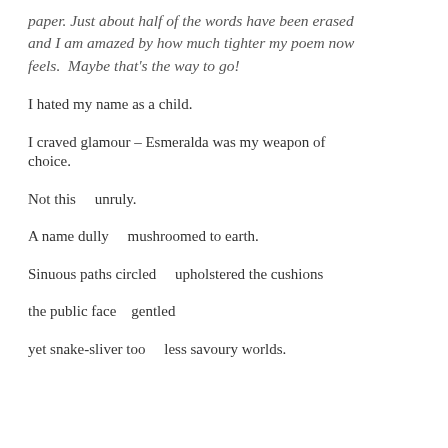paper. Just about half of the words have been erased and I am amazed by how much tighter my poem now feels.  Maybe that's the way to go!
I hated my name as a child.
I craved glamour – Esmeralda was my weapon of choice.
Not this    unruly.
A name dully    mushroomed to earth.
Sinuous paths circled    upholstered the cushions
the public face    gentled
yet snake-sliver too    less savoury worlds.